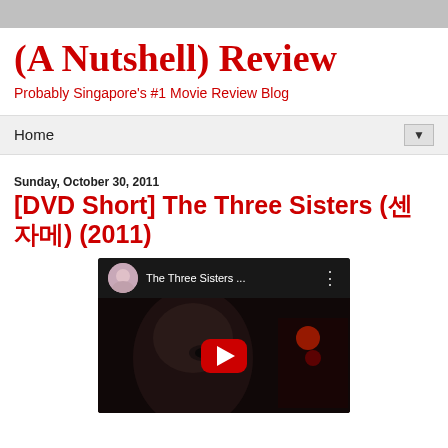(A Nutshell) Review
Probably Singapore's #1 Movie Review Blog
Home
Sunday, October 30, 2011
[DVD Short] The Three Sisters (세자매) (2011)
[Figure (screenshot): YouTube video thumbnail for 'The Three Sisters ...' showing a close-up of a face in dark lighting with a red YouTube play button overlay, and a small circular avatar in the top bar]